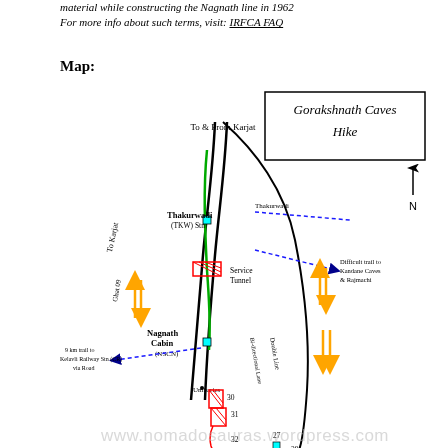material while constructing the Nagnath line in 1962
For more info about such terms, visit: IRFCA FAQ
Map:
[Figure (map): Hand-drawn map of Gorakshnath Caves Hike area near Thakurwadi and Karjat, showing railway lines, service tunnel, Nagnath Cabin, trail to Kelavli Railway Station, trail to Kandane Caves & Rajmachi, north arrow, and numbered points (27, 29, 30, 31, 32).]